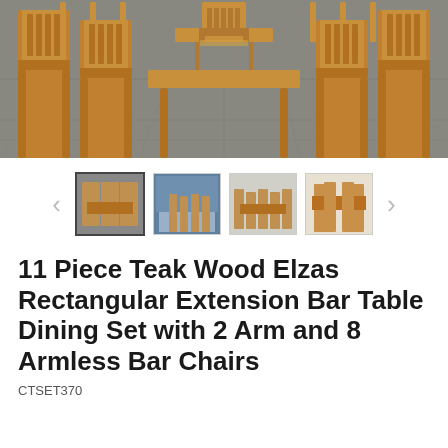[Figure (photo): Outdoor teak wood bar table dining set with multiple bar chairs arranged on a stone patio, photographed from a low angle showing chair legs and the rectangular table in the center background.]
[Figure (photo): Thumbnail image carousel showing four thumbnail photos of the teak dining set from different angles, with left and right navigation arrows.]
11 Piece Teak Wood Elzas Rectangular Extension Bar Table Dining Set with 2 Arm and 8 Armless Bar Chairs
CTSET370